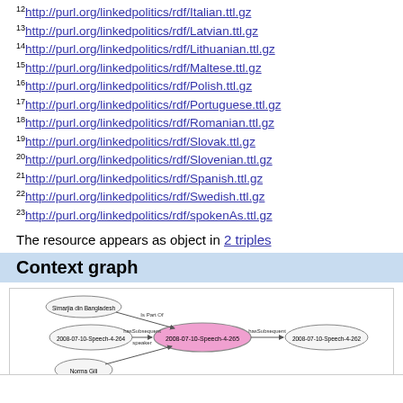12 http://purl.org/linkedpolitics/rdf/Italian.ttl.gz
13 http://purl.org/linkedpolitics/rdf/Latvian.ttl.gz
14 http://purl.org/linkedpolitics/rdf/Lithuanian.ttl.gz
15 http://purl.org/linkedpolitics/rdf/Maltese.ttl.gz
16 http://purl.org/linkedpolitics/rdf/Polish.ttl.gz
17 http://purl.org/linkedpolitics/rdf/Portuguese.ttl.gz
18 http://purl.org/linkedpolitics/rdf/Romanian.ttl.gz
19 http://purl.org/linkedpolitics/rdf/Slovak.ttl.gz
20 http://purl.org/linkedpolitics/rdf/Slovenian.ttl.gz
21 http://purl.org/linkedpolitics/rdf/Spanish.ttl.gz
22 http://purl.org/linkedpolitics/rdf/Swedish.ttl.gz
23 http://purl.org/linkedpolitics/rdf/spokenAs.ttl.gz
The resource appears as object in 2 triples
Context graph
[Figure (network-graph): Context graph showing linked nodes: 'Simarjia din Bangladesh' connected via 'Is Part Of' to central pink node '2008-07-10-Speech-4-265', with '2008-07-10-Speech-4-264' connected via 'hasSubsequent speaker' to the central node, 'Norma Gili' connected to the central node, and '2008-07-10-Speech-4-262' connected via 'hasSubsequent' from the central node.]